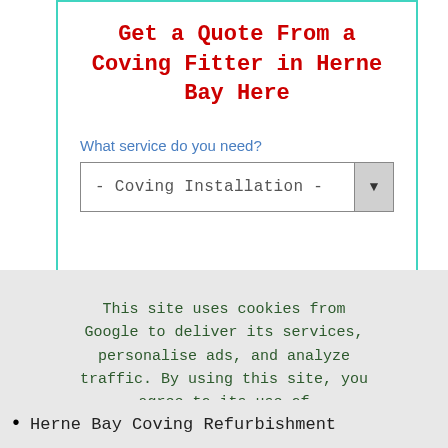Get a Quote From a Coving Fitter in Herne Bay Here
What service do you need?
- Coving Installation -
This site uses cookies from Google to deliver its services, personalise ads, and analyze traffic. By using this site, you agree to its use of cookies. Learn More  I Agree
Herne Bay Coving Refurbishment